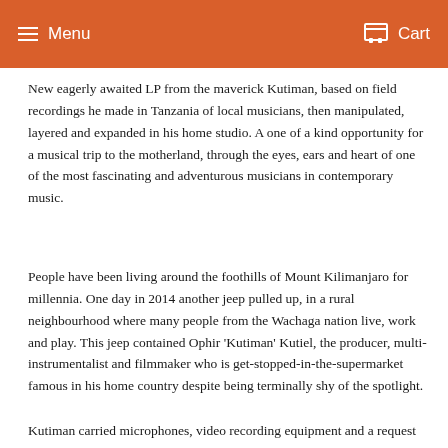Menu  Cart
New eagerly awaited LP from the maverick Kutiman, based on field recordings he made in Tanzania of local musicians, then manipulated, layered and expanded in his home studio. A one of a kind opportunity for a musical trip to the motherland, through the eyes, ears and heart of one of the most fascinating and adventurous musicians in contemporary music.
People have been living around the foothills of Mount Kilimanjaro for millennia. One day in 2014 another jeep pulled up, in a rural neighbourhood where many people from the Wachaga nation live, work and play. This jeep contained Ophir 'Kutiman' Kutiel, the producer, multi-instrumentalist and filmmaker who is get-stopped-in-the-supermarket famous in his home country despite being terminally shy of the spotlight.
Kutiman carried microphones, video recording equipment and a request for creative collaboration to Tanzania – and he left Wachaga with a set of recordings. Some of these were of everyday sounds and some contained special sounds: school children from the city of Arusha playing